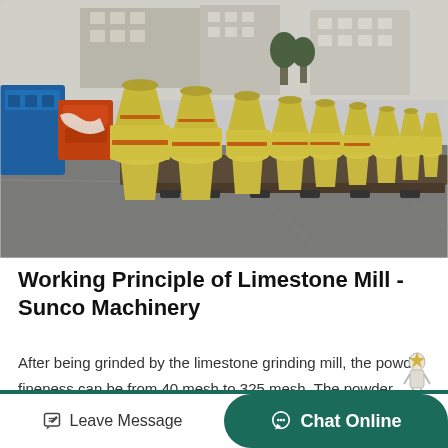[Figure (photo): Outdoor factory yard showing a row of large yellow limestone grinding mill machines (cone mills) lined up on flatbed transport platforms, with industrial buildings in the background and blue/orange equipment on the left.]
Working Principle of Limestone Mill - Sunco Machinery
After being grinded by the limestone grinding mill, the powder fineness can be from 40 mesh to 325 mesh. The powder fineness can be adjuted by the analyzer machine continuously. The limestone m…
Leave Message  |  Chat Online